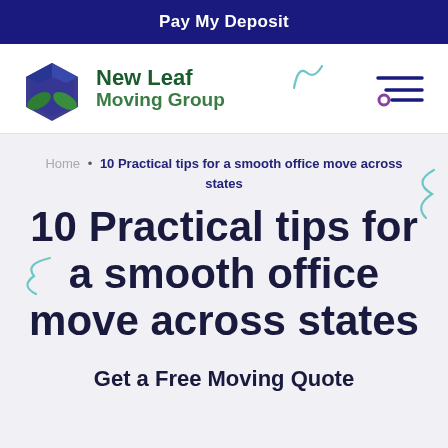Pay My Deposit
[Figure (logo): New Leaf Moving Group logo with green and blue box icon and green text]
Home • 10 Practical tips for a smooth office move across states
10 Practical tips for a smooth office move across states
Get a Free Moving Quote